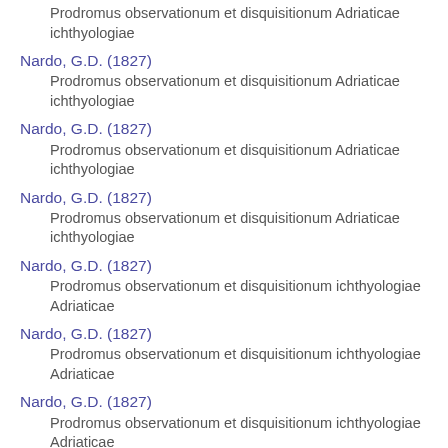Prodromus observationum et disquisitionum Adriaticae ichthyologiae
Nardo, G.D. (1827)
Prodromus observationum et disquisitionum Adriaticae ichthyologiae
Nardo, G.D. (1827)
Prodromus observationum et disquisitionum Adriaticae ichthyologiae
Nardo, G.D. (1827)
Prodromus observationum et disquisitionum Adriaticae ichthyologiae
Nardo, G.D. (1827)
Prodromus observationum et disquisitionum ichthyologiae Adriaticae
Nardo, G.D. (1827)
Prodromus observationum et disquisitionum ichthyologiae Adriaticae
Nardo, G.D. (1827)
Prodromus observationum et disquisitionum ichthyologiae Adriaticae